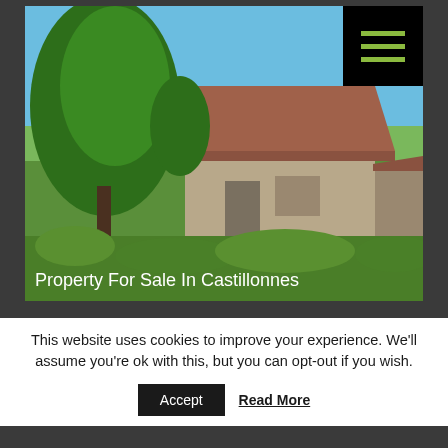[Figure (photo): Outdoor photo of a rustic stone farmhouse with terracotta tile roof surrounded by tall green trees and overgrown grass under a clear blue sky. A black hamburger menu icon overlay appears in the upper right of the image.]
Property For Sale In Castillonnes
This website uses cookies to improve your experience. We'll assume you're ok with this, but you can opt-out if you wish.
Accept   Read More